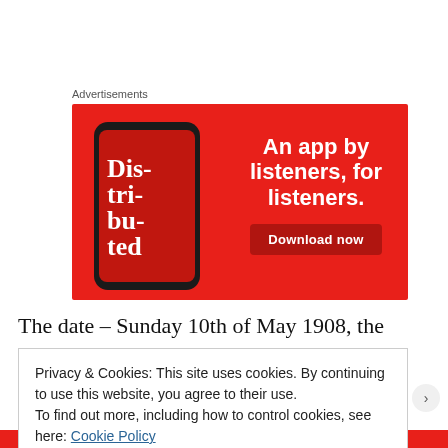Advertisements
[Figure (infographic): Red advertisement banner for a podcast app. Shows a smartphone displaying 'Distributed' podcast. Text reads 'An app by listeners, for listeners.' with a 'Download now' button.]
The date – Sunday 10th of May 1908, the event – The
Privacy & Cookies: This site uses cookies. By continuing to use this website, you agree to their use.
To find out more, including how to control cookies, see here: Cookie Policy
Close and accept